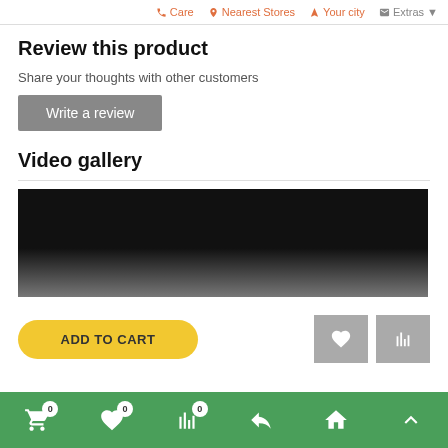Care  Nearest Stores  Your city  Extras
Review this product
Share your thoughts with other customers
Write a review
Video gallery
[Figure (screenshot): Video player thumbnail showing black top area and dark/grey blurred lower portion]
ADD TO CART